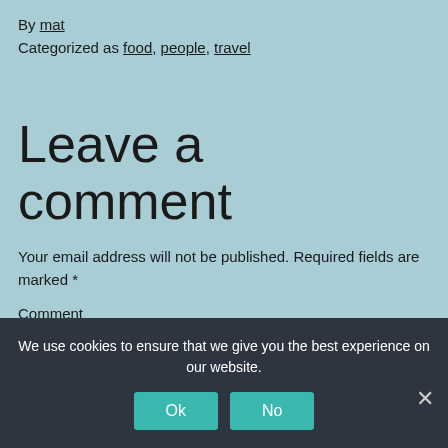By mat
Categorized as food, people, travel
Leave a comment
Your email address will not be published. Required fields are marked *
Comment
We use cookies to ensure that we give you the best experience on our website.